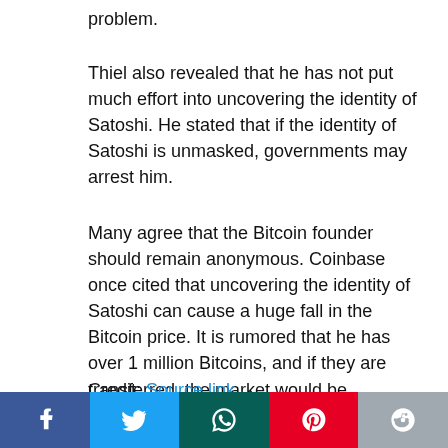...solving a social problem rather than a technical problem.
Thiel also revealed that he has not put much effort into uncovering the identity of Satoshi. He stated that if the identity of Satoshi is unmasked, governments may arrest him.
Many agree that the Bitcoin founder should remain anonymous. Coinbase once cited that uncovering the identity of Satoshi can cause a huge fall in the Bitcoin price. It is rumored that he has over 1 million Bitcoins, and if they are transferred, the market would be negatively impacted.
Credit: Source link
[Figure (other): Social share buttons: Facebook, Twitter, WhatsApp, Pinterest, Reddit]